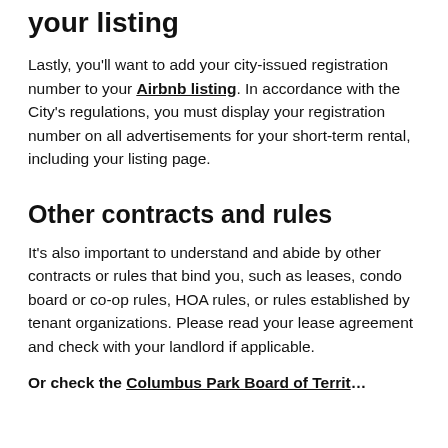your listing
Lastly, you’ll want to add your city-issued registration number to your Airbnb listing. In accordance with the City’s regulations, you must display your registration number on all advertisements for your short-term rental, including your listing page.
Other contracts and rules
It’s also important to understand and abide by other contracts or rules that bind you, such as leases, condo board or co-op rules, HOA rules, or rules established by tenant organizations. Please read your lease agreement and check with your landlord if applicable.
Or check the Columbus Park Board of Territ...